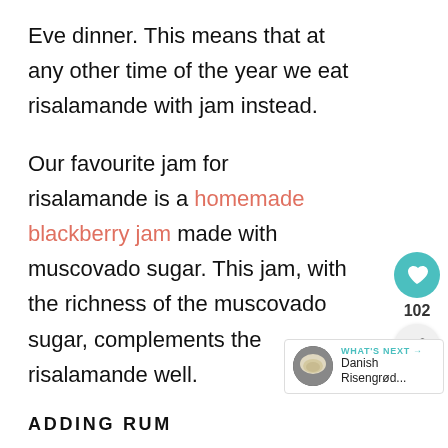Eve dinner. This means that at any other time of the year we eat risalamande with jam instead.
Our favourite jam for risalamande is a homemade blackberry jam made with muscovado sugar. This jam, with the richness of the muscovado sugar, complements the risalamande well.
ADDING RUM
Some people use a bit of rum essence
[Figure (other): Heart/like button (teal circle with white heart icon), count of 102, and share button (light circle with share icon)]
[Figure (other): What's Next widget showing a thumbnail image of Danish Risengrød with label 'WHAT'S NEXT' and arrow]